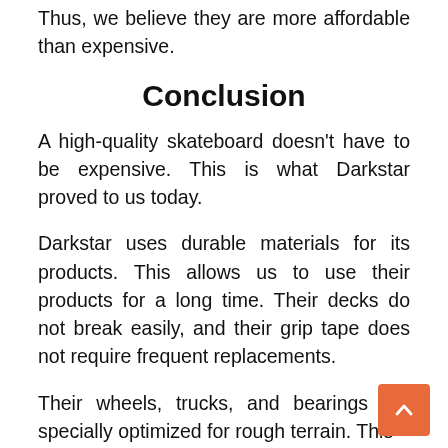Thus, we believe they are more affordable than expensive.
Conclusion
A high-quality skateboard doesn't have to be expensive. This is what Darkstar proved to us today.
Darkstar uses durable materials for its products. This allows us to use their products for a long time. Their decks do not break easily, and their grip tape does not require frequent replacements.
Their wheels, trucks, and bearings are specially optimized for rough terrain. This